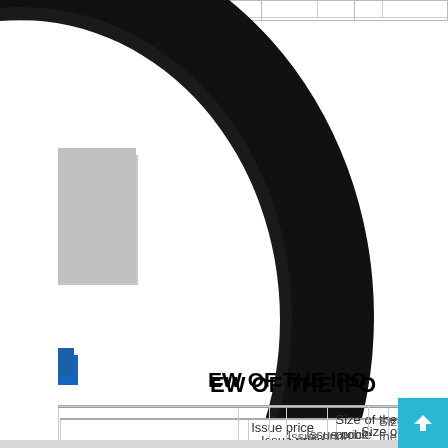EW OF THE IPO
|  | Issue price | Size of the problem |
| --- | --- | --- |
| lic offering of an SME | 20 | 3. |
| lic offering of an SME | 27 | 9.7 |
| offering of an SME | 37 | NSE – SM |
| i   ffering of an SME | 111 | 30.77 – 31. |